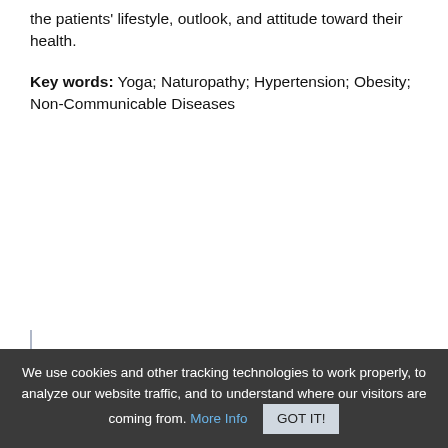the patients' lifestyle, outlook, and attitude toward their health.
Key words: Yoga; Naturopathy; Hypertension; Obesity; Non-Communicable Diseases
We use cookies and other tracking technologies to work properly, to analyze our website traffic, and to understand where our visitors are coming from. More Info  GOT IT!